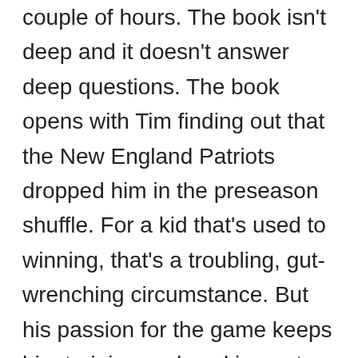you'd want to learn about him. Follow in a couple of hours. The book isn't deep and it doesn't answer deep questions. The book opens with Tim finding out that the New England Patriots dropped him in the preseason shuffle. For a kid that's used to winning, that's a troubling, gut-wrenching circumstance. But his passion for the game keeps him training and working out. He's considered the strongest quarterback in NFL history. He obviously works hard. But that's not enough to make the team. And